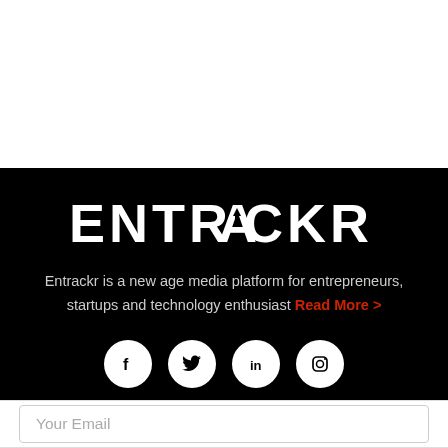ENTRACKR
Entrackr is a new age media platform for entrepreneurs, startups and technology enthusiast Read More >
[Figure (other): Social media icons: Facebook, Twitter, LinkedIn, Instagram — white circles on black background]
Your Email